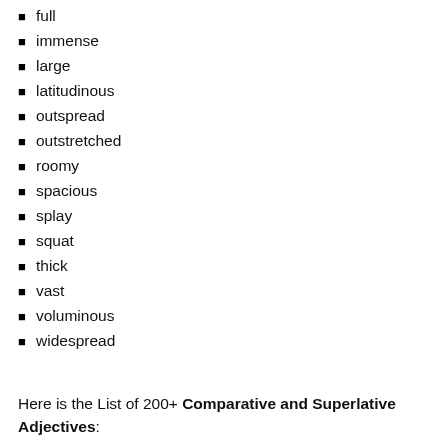full
immense
large
latitudinous
outspread
outstretched
roomy
spacious
splay
squat
thick
vast
voluminous
widespread
Here is the List of 200+ Comparative and Superlative Adjectives: